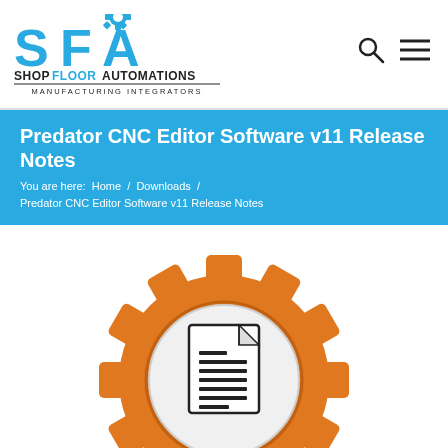Shop Floor Automations - Manufacturing Integrators
Predator CNC Editor Software v11 Release Notes
You are here:  Home  /  Downloads  /  Predator CNC Editor Software v11 Release Notes
[Figure (illustration): Orange gear icon with a document/file icon in the center, representing CNC editor software release notes]